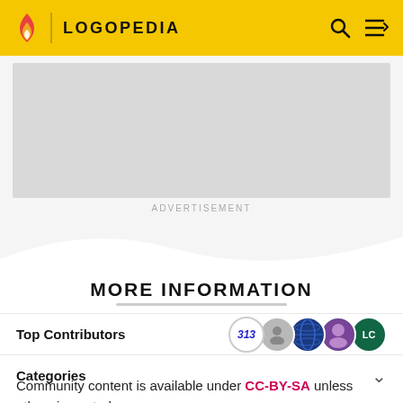LOGOPEDIA
[Figure (screenshot): Advertisement placeholder box (gray rectangle)]
ADVERTISEMENT
MORE INFORMATION
Top Contributors
Categories
Community content is available under CC-BY-SA unless otherwise noted.